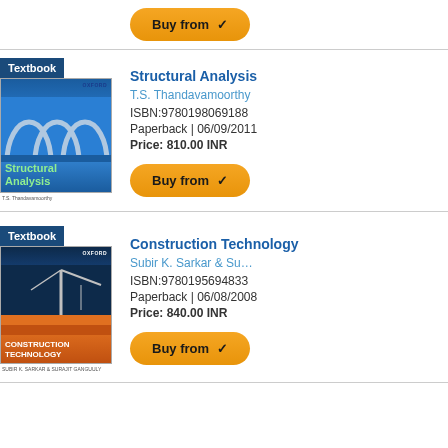[Figure (other): Buy from button at top of page (partial view from previous listing)]
[Figure (other): Textbook badge and cover image for Structural Analysis by T.S. Thandavamoorthy, Oxford University Press]
Structural Analysis
T.S. Thandavamoorthy
ISBN:9780198069188
Paperback | 06/09/2011
Price: 810.00 INR
[Figure (other): Buy from button for Structural Analysis]
[Figure (other): Textbook badge and cover image for Construction Technology by Subir K. Sarkar & Su..., Oxford University Press]
Construction Technology
Subir K. Sarkar & Su…
ISBN:9780195694833
Paperback | 06/08/2008
Price: 840.00 INR
[Figure (other): Buy from button for Construction Technology]